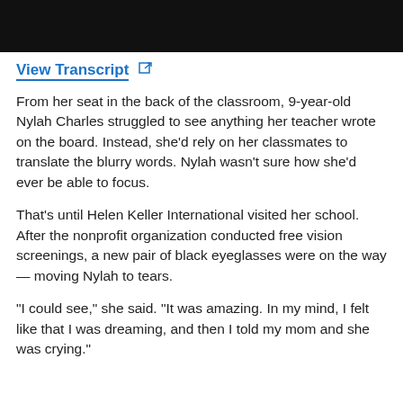[Figure (photo): Black banner/header image at top of page]
View Transcript ↗
From her seat in the back of the classroom, 9-year-old Nylah Charles struggled to see anything her teacher wrote on the board. Instead, she'd rely on her classmates to translate the blurry words. Nylah wasn't sure how she'd ever be able to focus.
That's until Helen Keller International visited her school. After the nonprofit organization conducted free vision screenings, a new pair of black eyeglasses were on the way — moving Nylah to tears.
“I could see,” she said. “It was amazing. In my mind, I felt like that I was dreaming, and then I told my mom and she was crying.”